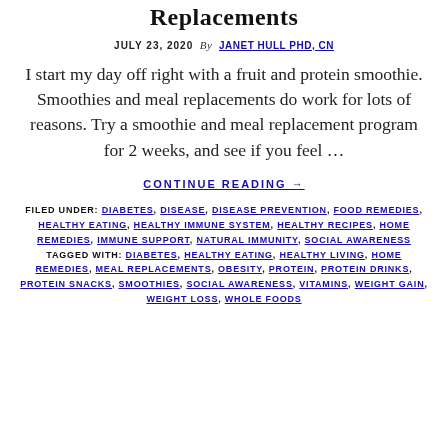Replacements
JULY 23, 2020  By  JANET HULL PHD, CN
I start my day off right with a fruit and protein smoothie. Smoothies and meal replacements do work for lots of reasons. Try a smoothie and meal replacement program for 2 weeks, and see if you feel …
CONTINUE READING →
FILED UNDER: DIABETES, DISEASE, DISEASE PREVENTION, FOOD REMEDIES, HEALTHY EATING, HEALTHY IMMUNE SYSTEM, HEALTHY RECIPES, HOME REMEDIES, IMMUNE SUPPORT, NATURAL IMMUNITY, SOCIAL AWARENESS TAGGED WITH: DIABETES, HEALTHY EATING, HEALTHY LIVING, HOME REMEDIES, MEAL REPLACEMENTS, OBESITY, PROTEIN, PROTEIN DRINKS, PROTEIN SNACKS, SMOOTHIES, SOCIAL AWARENESS, VITAMINS, WEIGHT GAIN, WEIGHT LOSS, WHOLE FOODS